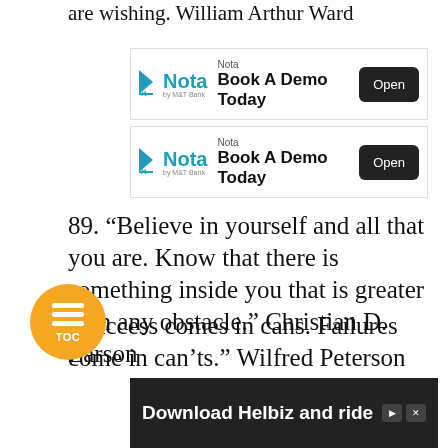are wishing.  William Arthur Ward
[Figure (screenshot): Nota by M&T Bank advertisement banner: 'Book A Demo Today' with Open button (first)]
[Figure (screenshot): Nota by M&T Bank advertisement banner: 'Book A Demo Today' with Open button (second)]
89. “Believe in yourself and all that you are. Know that there is something inside you that is greater than any obstacle.” Christian D. Larson
[Figure (screenshot): TOC (Table of Contents) circular orange button with list icon]
“Success comes in cans. Failures come in can’ts.” Wilfred Peterson
[Figure (screenshot): Advertisement banner: 'Download Helbiz and ride' with bicycle handlebar image in background]